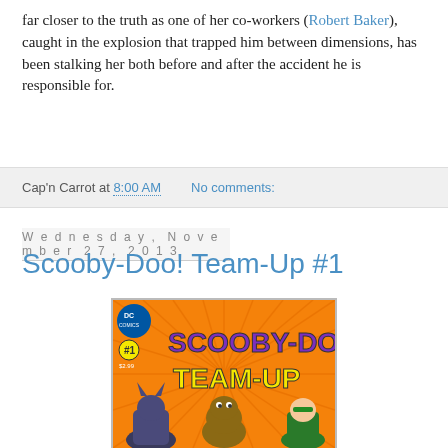far closer to the truth as one of her co-workers (Robert Baker), caught in the explosion that trapped him between dimensions, has been stalking her both before and after the accident he is responsible for.
Cap'n Carrot at 8:00 AM   No comments:
Wednesday, November 27, 2013
Scooby-Doo! Team-Up #1
[Figure (illustration): Comic book cover of Scooby-Doo! Team-Up #1, published by DC Comics, priced $2.99. Features large purple and yellow text 'Scooby-Doo! Team-Up' on an orange sunburst background. Batman, Scooby-Doo, and Robin appear at the bottom.]